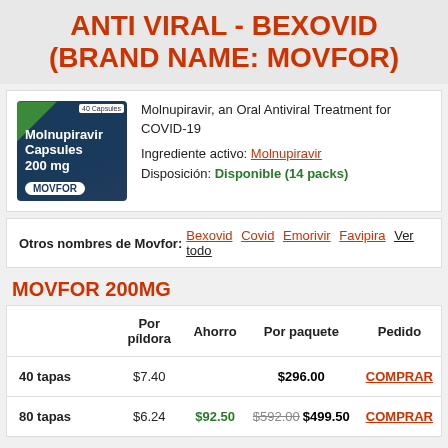ANTI VIRAL - BEXOVID (BRAND NAME: MOVFOR)
[Figure (photo): Product image of Molnupiravir Capsules 200mg MOVFOR box, dark blue/navy packaging with green corner accent and white text]
Molnupiravir, an Oral Antiviral Treatment for COVID-19
Ingrediente activo: Molnupiravir
Disposición: Disponible (14 packs)
Otros nombres de Movfor: Bexovid Covid Emorivir Favipira Ver todo
MOVFOR 200MG
|  | Por píldora | Ahorro | Por paquete | Pedido |
| --- | --- | --- | --- | --- |
| 40 tapas | $7.40 |  | $296.00 | COMPRAR |
| 80 tapas | $6.24 | $92.50 | $592.00 $499.50 | COMPRAR |